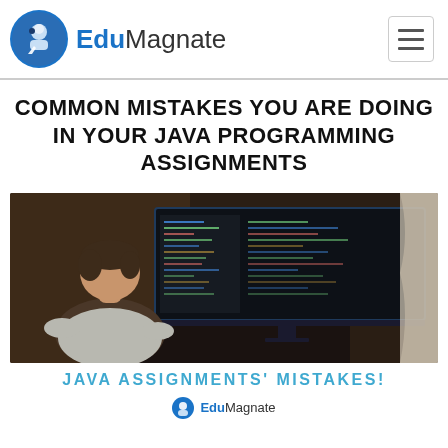EduMagnate
COMMON MISTAKES YOU ARE DOING IN YOUR JAVA PROGRAMMING ASSIGNMENTS
[Figure (photo): Person seen from behind sitting at a desk, looking at a large monitor displaying code in a dark-themed IDE]
JAVA ASSIGNMENTS' MISTAKES!
EduMagnate